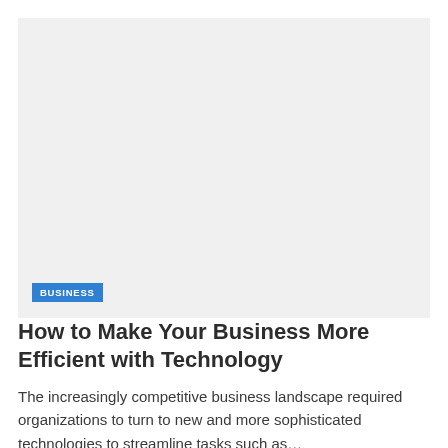[Figure (photo): Large light gray image placeholder occupying the upper portion of the page]
BUSINESS
How to Make Your Business More Efficient with Technology
The increasingly competitive business landscape required organizations to turn to new and more sophisticated technologies to streamline tasks such as…